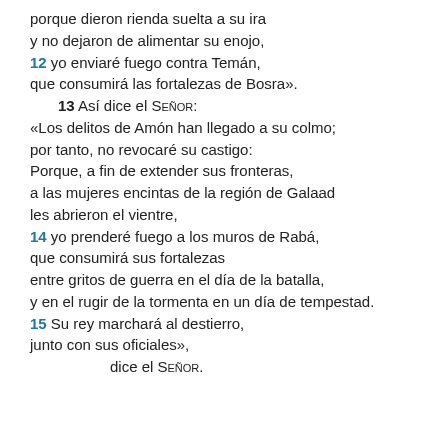porque dieron rienda suelta a su ira
y no dejaron de alimentar su enojo,
12 yo enviaré fuego contra Temán,
que consumirá las fortalezas de Bosra».
13 Así dice el Señor:
«Los delitos de Amón han llegado a su colmo;
por tanto, no revocaré su castigo:
Porque, a fin de extender sus fronteras,
a las mujeres encintas de la región de Galaad
les abrieron el vientre,
14 yo prenderé fuego a los muros de Rabá,
que consumirá sus fortalezas
entre gritos de guerra en el día de la batalla,
y en el rugir de la tormenta en un día de tempestad.
15 Su rey marchará al destierro,
junto con sus oficiales»,
dice el Señor.